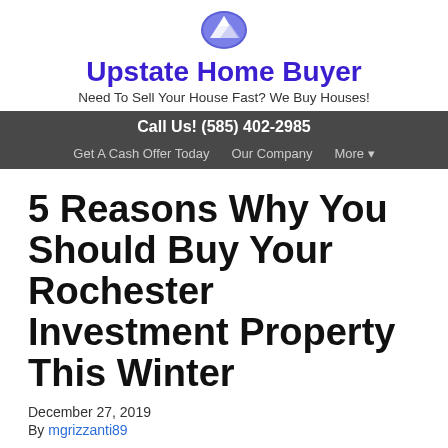[Figure (logo): Upstate Home Buyer logo icon — mountain/house silhouette in blue and white circle]
Upstate Home Buyer
Need To Sell Your House Fast? We Buy Houses!
Call Us! (585) 402-2985
Get A Cash Offer Today   Our Company   More ▼
5 Reasons Why You Should Buy Your Rochester Investment Property This Winter
December 27, 2019
By mgrizzanti89